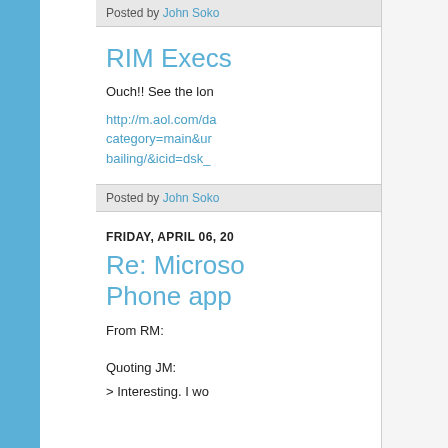Posted by John Soko
RIM Execs
Ouch!! See the lon
http://m.aol.com/da category=main&ur bailing/&icid=dsk_
Posted by John Soko
FRIDAY, APRIL 06, 20
Re: Microso Phone app
From RM:
Quoting JM:
> Interesting. I wo